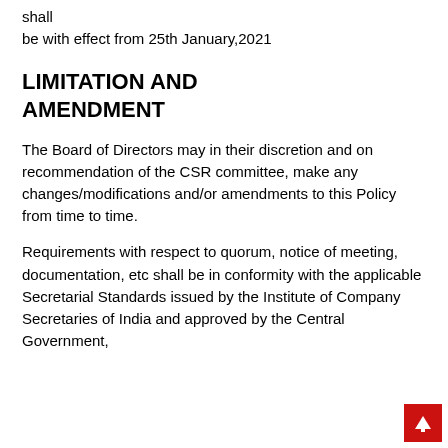shall be with effect from 25th January,2021
LIMITATION AND AMENDMENT
The Board of Directors may in their discretion and on recommendation of the CSR committee, make any changes/modifications and/or amendments to this Policy from time to time.
Requirements with respect to quorum, notice of meeting, documentation, etc shall be in conformity with the applicable Secretarial Standards issued by the Institute of Company Secretaries of India and approved by the Central Government,